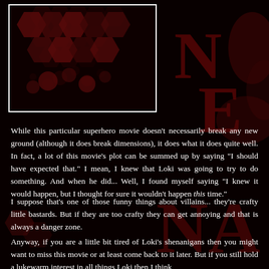[Figure (illustration): Dark red/black background with hexagonal honeycomb pattern shapes and silhouette imagery. A white-bordered box in the upper left, with large dark red letters 'NE' visible on the right side. Decorative nerd-themed blog imagery.]
While this particular superhero movie doesn't necessarily break any new ground (although it does break dimensions), it does what it does quite well. In fact, a lot of this movie's plot can be summed up by saying "I should have expected that." I mean, I knew that Loki was going to try to do something. And when he did... Well, I found myself saying "I knew it would happen, but I thought for sure it wouldn't happen this time."
I suppose that's one of those funny things about villains... they're crafty little bastards. But if they are too crafty they can get annoying and that is always a danger zone.
Anyway, if you are a little bit tired of Loki's shenanigans then you might want to miss this movie or at least come back to it later. But if you still hold a lukewarm interest in all things Loki then I think